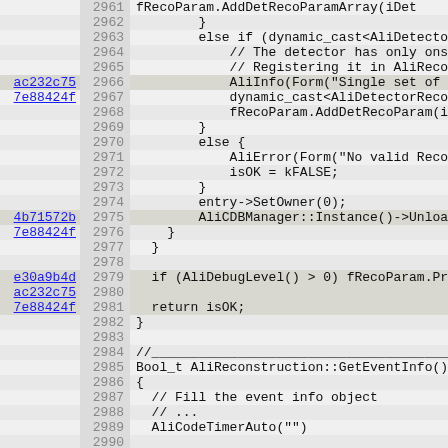[Figure (screenshot): Source code viewer showing C++ code for AliReconstruction class, lines 2961-2992, with git blame hash annotations on the left margin. Lines include conditional logic for detector reconstruction parameters and the beginning of GetEventInfo() function.]